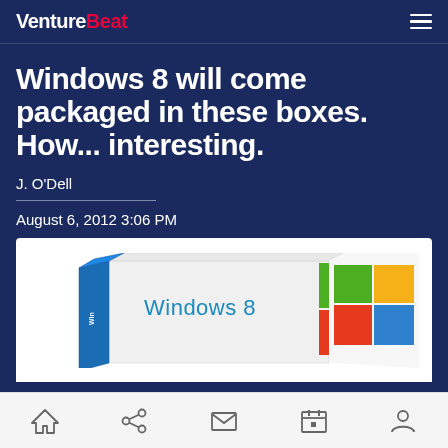VentureBeat
Windows 8 will come packaged in these boxes. How... interesting.
J. O'Dell
August 6, 2012 3:06 PM
[Figure (photo): Windows 8 retail box product packaging showing a white box with blue Windows 8 logo text and colorful design elements]
Navigation bar with home, share, mail, calendar, and profile icons